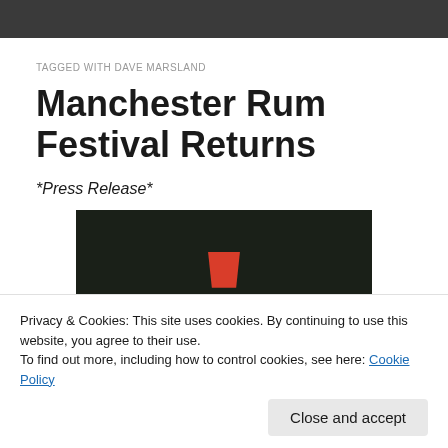TAGGED WITH DAVE MARSLAND
Manchester Rum Festival Returns
*Press Release*
[Figure (illustration): Dark background illustration with a red cup/trapezoid shape in the center, part of a rum festival logo or poster]
Privacy & Cookies: This site uses cookies. By continuing to use this website, you agree to their use.
To find out more, including how to control cookies, see here: Cookie Policy
Close and accept